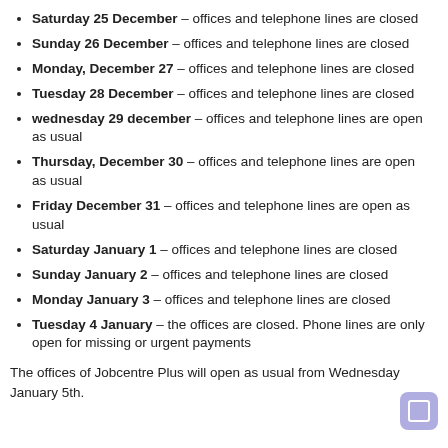Saturday 25 December – offices and telephone lines are closed
Sunday 26 December – offices and telephone lines are closed
Monday, December 27 – offices and telephone lines are closed
Tuesday 28 December – offices and telephone lines are closed
wednesday 29 december – offices and telephone lines are open as usual
Thursday, December 30 – offices and telephone lines are open as usual
Friday December 31 – offices and telephone lines are open as usual
Saturday January 1 – offices and telephone lines are closed
Sunday January 2 – offices and telephone lines are closed
Monday January 3 – offices and telephone lines are closed
Tuesday 4 January – the offices are closed. Phone lines are only open for missing or urgent payments
The offices of Jobcentre Plus will open as usual from Wednesday January 5th.